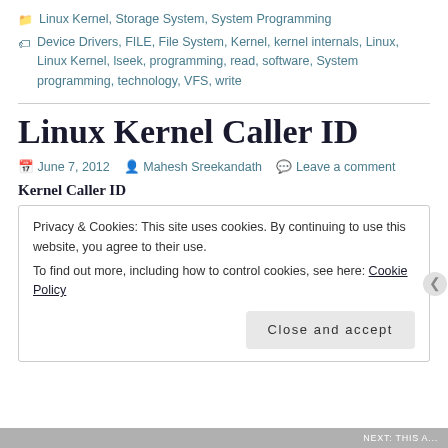Linux Kernel, Storage System, System Programming
Device Drivers, FILE, File System, Kernel, kernel internals, Linux, Linux Kernel, lseek, programming, read, software, System programming, technology, VFS, write
Linux Kernel Caller ID
June 7, 2012   Mahesh Sreekandath   Leave a comment
Kernel Caller ID
Privacy & Cookies: This site uses cookies. By continuing to use this website, you agree to their use.
To find out more, including how to control cookies, see here: Cookie Policy
Close and accept
NEXT: THIS A...